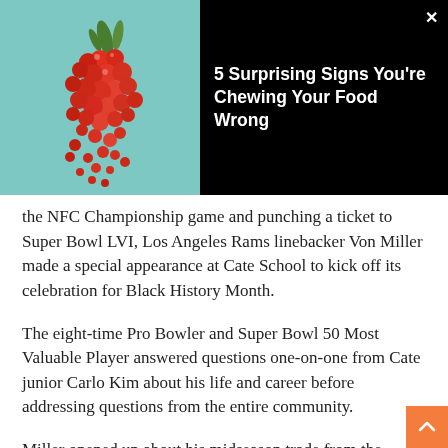[Figure (infographic): Advertisement banner: left side shows a cluster of small red berries/seeds on a teal background, right side has black background with white bold text reading '5 Surprising Signs You're Chewing Your Food Wrong' and an X close button in the top-right corner.]
the NFC Championship game and punching a ticket to Super Bowl LVI, Los Angeles Rams linebacker Von Miller made a special appearance at Cate School to kick off its celebration for Black History Month.
The eight-time Pro Bowler and Super Bowl 50 Most Valuable Player answered questions one-on-one from Cate junior Carlo Kim about his life and career before addressing questions from the entire community.
Miller opened up about his midseason trade from the Denver Broncos to the Rams, his work ethic and inspiration from Kobe Bryant, being one of the last players ever to sack Tom Brady, and his career backup plan as a poultry farmer if football didn't pan out.